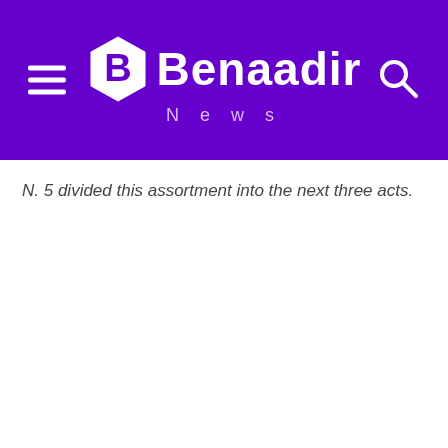Benaadir News
N. 5 divided this assortment into the next three acts.